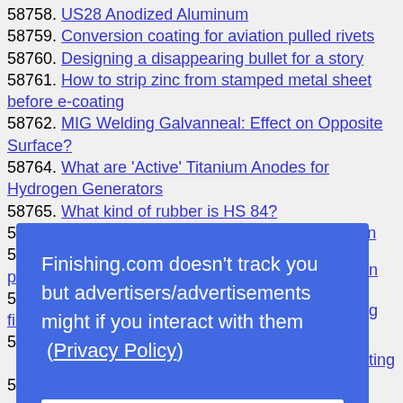58758. US28 Anodized Aluminum
58759. Conversion coating for aviation pulled rivets
58760. Designing a disappearing bullet for a story
58761. How to strip zinc from stamped metal sheet before e-coating
58762. MIG Welding Galvanneal: Effect on Opposite Surface?
58764. What are 'Active' Titanium Anodes for Hydrogen Generators
58765. What kind of rubber is HS 84?
58766. Need help with powder coating specification
58767. Brown contaminant on stainless steel after plating
58771. Spotting on aluminum parts with chromate finish
58781. Ptmax Surface Finish
Finishing.com doesn't track you but advertisers/advertisements might if you interact with them (Privacy Policy)
Understood